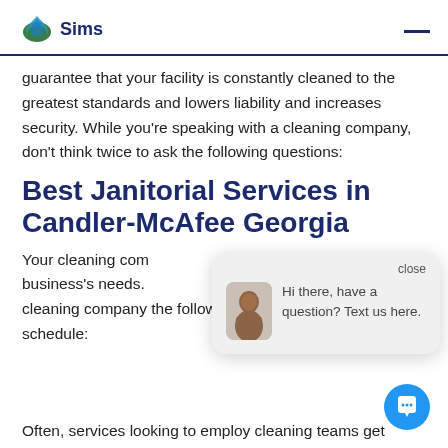Sims
guarantee that your facility is constantly cleaned to the greatest standards and lowers liability and increases security. While you’re speaking with a cleaning company, don’t think twice to ask the following questions:
Best Janitorial Services in Candler-McAfee Georgia
Your cleaning company’s needs. cleaning company the following questions regarding their schedule:
[Figure (screenshot): Chat popup widget showing avatar of a man and the message: Hi there, have a question? Text us here. With a close button and a blue chat bubble button.]
Often, services looking to employ cleaning teams get